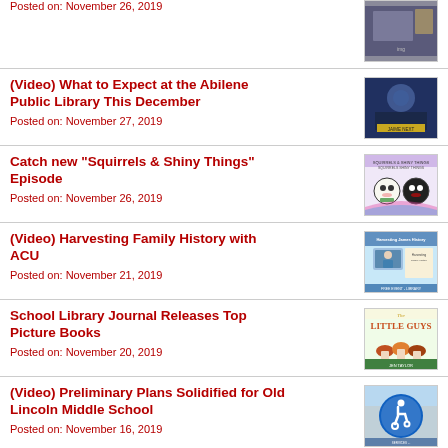Posted on: November 26, 2019
[Figure (photo): Thumbnail image - dark/blue toned person photo]
(Video) What to Expect at the Abilene Public Library This December
Posted on: November 27, 2019
[Figure (photo): Thumbnail - person on TV screen]
Catch new "Squirrels & Shiny Things" Episode
Posted on: November 26, 2019
[Figure (photo): Thumbnail - podcast artwork with cartoon faces]
(Video) Harvesting Family History with ACU
Posted on: November 21, 2019
[Figure (photo): Thumbnail - Harvesting Family History with ACU promotional image]
School Library Journal Releases Top Picture Books
Posted on: November 20, 2019
[Figure (photo): Thumbnail - Little Guys book cover]
(Video) Preliminary Plans Solidified for Old Lincoln Middle School
Posted on: November 16, 2019
[Figure (photo): Thumbnail - accessibility symbol on blue background]